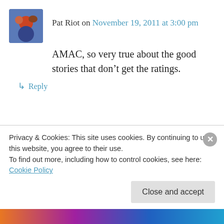Pat Riot on November 19, 2011 at 3:00 pm
AMAC, so very true about the good stories that don’t get the ratings.
↳ Reply
AMAC on November 20, 2011 at 3:19 pm
Yes, but that won’t get ratings! I understand the frustration with football players and
Privacy & Cookies: This site uses cookies. By continuing to use this website, you agree to their use.
To find out more, including how to control cookies, see here: Cookie Policy
Close and accept